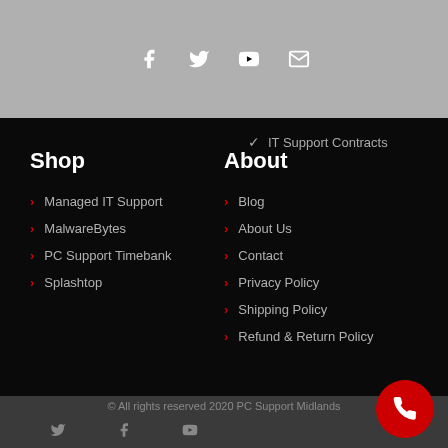[Figure (other): Social media icons (Facebook, Twitter, YouTube, Email) on gray background]
IT Support Contracts
Shop
Managed IT Support
MalwareBytes
PC Support Timebank
Splashtop
About
Blog
About Us
Contact
Privacy Policy
Shipping Policy
Refund & Return Policy
© All rights reserved 2020 PC Support Midlands